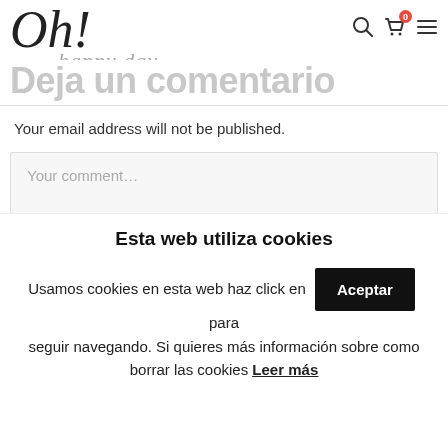Oh! happy day
Deja un comentario
Your email address will not be published.
Your comment...
Esta web utiliza cookies
Usamos cookies en esta web haz click en Aceptar para seguir navegando. Si quieres más información sobre como borrar las cookies Leer más